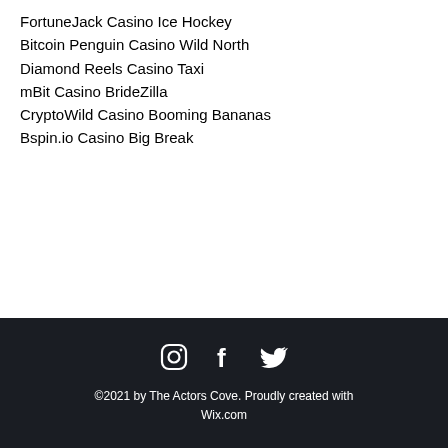FortuneJack Casino Ice Hockey
Bitcoin Penguin Casino Wild North
Diamond Reels Casino Taxi
mBit Casino BrideZilla
CryptoWild Casino Booming Bananas
Bspin.io Casino Big Break
https://www.qwizbowl.com/profile/bryandegollado5277410/profile
https://wo.youngloveluxe.com/profile/verniamusquiz14319133/profile
https://www.hksae.com/profile/marguritetraina14633742/profile
https://www.brooklandperformance.com/profile/loreleipale16124587/profile
©2021 by The Actors Cove. Proudly created with Wix.com